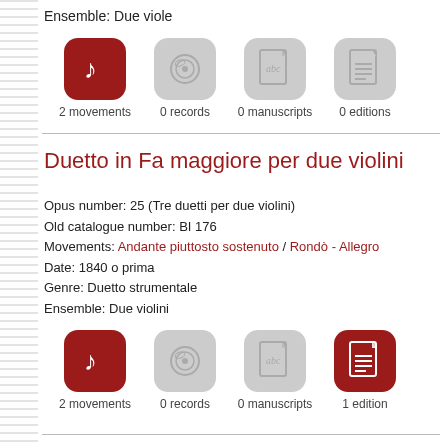Ensemble: Due viole
[Figure (infographic): Four icons: music note (active/red) labeled '2 movements', CD/record (gray) '0 records', manuscript/abc (gray) '0 manuscripts', document (gray) '0 editions']
Duetto in Fa maggiore per due violini
Opus number: 25 (Tre duetti per due violini)
Old catalogue number: BI 176
Movements: Andante piuttosto sostenuto / Rondò - Allegro
Date: 1840 o prima
Genre: Duetto strumentale
Ensemble: Due violini
[Figure (infographic): Four icons: music note (active/red) labeled '2 movements', CD/record (gray) '0 records', manuscript/abc (gray) '0 manuscripts', document (active/red) '1 edition']